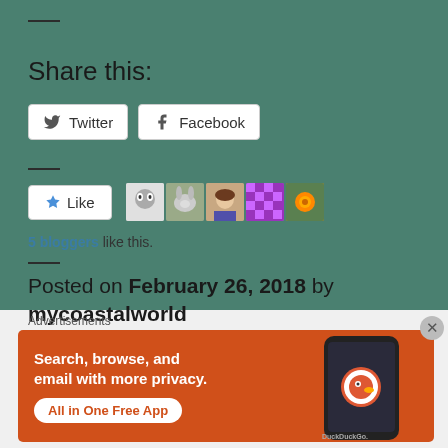Share this:
Twitter   Facebook
Like
5 bloggers like this.
Posted on February 26, 2018 by mycoastalworld
Advertisements
[Figure (screenshot): DuckDuckGo advertisement banner: orange background with text 'Search, browse, and email with more privacy. All in One Free App' and a phone showing the DuckDuckGo app]